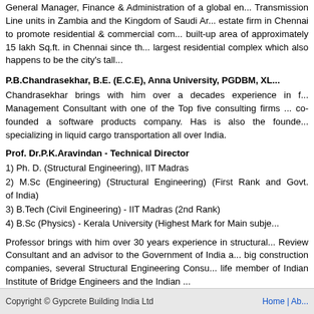General Manager, Finance & Administration of a global en... Transmission Line units in Zambia and the Kingdom of Saudi Ar... estate firm in Chennai to promote residential & commercial com... built-up area of approximately 15 lakh Sq.ft. in Chennai since th... largest residential complex which also happens to be the city's tall...
P.B.Chandrasekhar, B.E. (E.C.E), Anna University, PGDBM, XL...
Chandrasekhar brings with him over a decades experience in f... Management Consultant with one of the Top five consulting firms ... co-founded a software products company. Has is also the founde... specializing in liquid cargo transportation all over India.
Prof. Dr.P.K.Aravindan - Technical Director
1) Ph. D. (Structural Engineering), IIT Madras
2)  M.Sc  (Engineering)  (Structural  Engineering)  (First  Rank  and  Govt. of India)
3) B.Tech (Civil Engineering) - IIT Madras (2nd Rank)
4) B.Sc (Physics) - Kerala University (Highest Mark for Main subje...
Professor brings with him over 30 years experience in structural... Review Consultant and an advisor to the Government of India a... big construction companies, several Structural Engineering Consu... life member of Indian Institute of Bridge Engineers and the Indian ...
Couldn't load plugin
Copyright © Gypcrete Building India Ltd    Home | Ab...